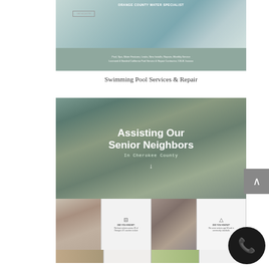[Figure (screenshot): Screenshot of a swimming pool services website with an image of pool water, a button, and a gray bar with service text: Pool, Spa, Water Features, Leaks, New Installs, Repairs, Monthly Service, Licensed & Bonded California Pool Service & Repair Contractor, CSLB #xxxxxx]
Swimming Pool Services & Repair
[Figure (screenshot): Screenshot of a senior assistance website hero section reading 'Assisting Our Senior Neighbors In Cherokee County' with an arrow, over a background photo of hands holding. Below is a grid with photos of elderly people and 'DID YOU KNOW?' info cards.]